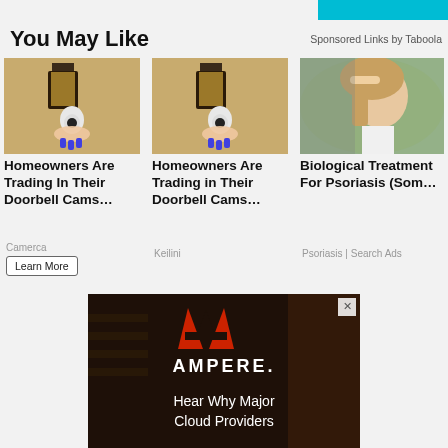You May Like
Sponsored Links by Taboola
[Figure (photo): Outdoor wall lamp with security camera and blue-nailed hand]
Homeowners Are Trading In Their Doorbell Cams…
Camerca
[Figure (photo): Outdoor wall lamp with security camera and blue-nailed hand (second)]
Homeowners Are Trading in Their Doorbell Cams…
Keilini
[Figure (photo): Woman looking stressed at mirror]
Biological Treatment For Psoriasis (Som…
Psoriasis | Search Ads
[Figure (screenshot): Ampere advertisement banner — red A logo, AMPERE. brand name, Hear Why Major Cloud Providers text]